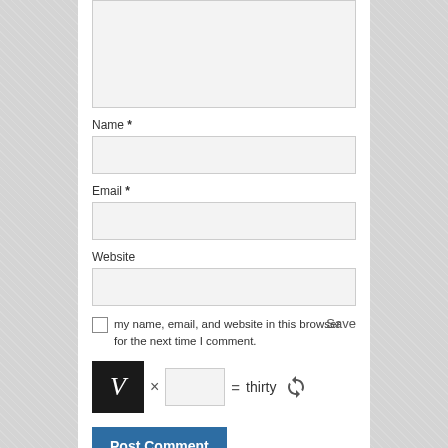[Figure (screenshot): Comment form textarea (empty, resizable)]
Name *
[Figure (screenshot): Name input field (empty)]
Email *
[Figure (screenshot): Email input field (empty)]
Website
[Figure (screenshot): Website input field (empty)]
Save my name, email, and website in this browser for the next time I comment.
[Figure (screenshot): CAPTCHA: black square with letter V times input box equals thirty, with refresh icon]
[Figure (screenshot): Post Comment button]